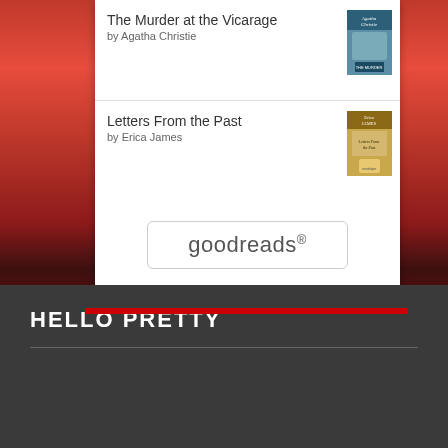[Figure (screenshot): Goodreads widget showing two book listings: 'The Murder at the Vicarage' by Agatha Christie with book cover, and 'Letters From the Past' by Erica James with book cover, followed by a goodreads button.]
[Figure (photo): Reddish orange sunset water background photo with bokeh light effects.]
HELLO PRETTY